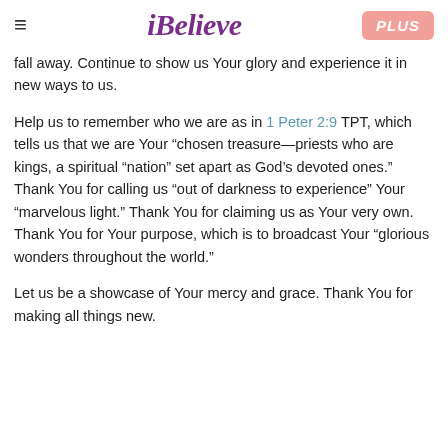iBelieve | PLUS
fall away. Continue to show us Your glory and experience it in new ways to us.
Help us to remember who we are as in 1 Peter 2:9 TPT, which tells us that we are Your “chosen treasure—priests who are kings, a spiritual “nation” set apart as God’s devoted ones.” Thank You for calling us “out of darkness to experience” Your “marvelous light.” Thank You for claiming us as Your very own. Thank You for Your purpose, which is to broadcast Your “glorious wonders throughout the world.”
Let us be a showcase of Your mercy and grace. Thank You for making all things new.